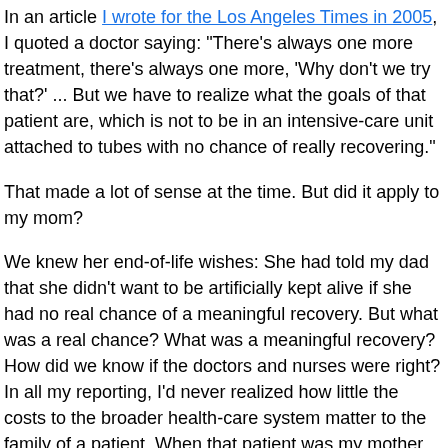In an article I wrote for the Los Angeles Times in 2005, I quoted a doctor saying: "There's always one more treatment, there's always one more, 'Why don't we try that?' ... But we have to realize what the goals of that patient are, which is not to be in an intensive-care unit attached to tubes with no chance of really recovering."
That made a lot of sense at the time. But did it apply to my mom?
We knew her end-of-life wishes: She had told my dad that she didn't want to be artificially kept alive if she had no real chance of a meaningful recovery. But what was a real chance? What was a meaningful recovery? How did we know if the doctors and nurses were right? In all my reporting, I'd never realized how little the costs to the broader health-care system matter to the family of a patient. When that patient was my mother, what mattered was that we had to live with whatever decision we made. And we wouldn't get a chance to make it twice.
As my mom lay in the ICU, there was no question that her brain...